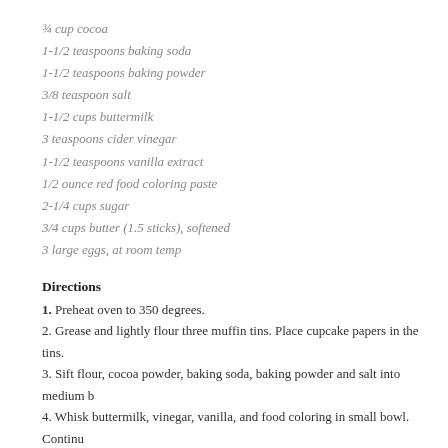¾ cup cocoa
1-1/2 teaspoons baking soda
1-1/2 teaspoons baking powder
3/8 teaspoon salt
1-1/2 cups buttermilk
3 teaspoons cider vinegar
1-1/2 teaspoons vanilla extract
1/2 ounce red food coloring paste
2-1/4 cups sugar
3/4 cups butter (1.5 sticks), softened
3 large eggs, at room temp
Directions
1. Preheat oven to 350 degrees.
2. Grease and lightly flour three muffin tins. Place cupcake papers in the tins.
3. Sift flour, cocoa powder, baking soda, baking powder and salt into medium b
4. Whisk buttermilk, vinegar, vanilla, and food coloring in small bowl. Continu batter turns red. Set Aside.
5. Cream the sugar and butter in large bowl (Kitchen Aid) until well fluffy, abo
6. Add eggs 1 at a time, beating until well blended after each addition, about 30
7. Beat in dry ingredients in 4 additions, alternate with buttermilk mixture in 3
8. Using a rubber spatula, scrape down the batter in the bowl, making sure the b